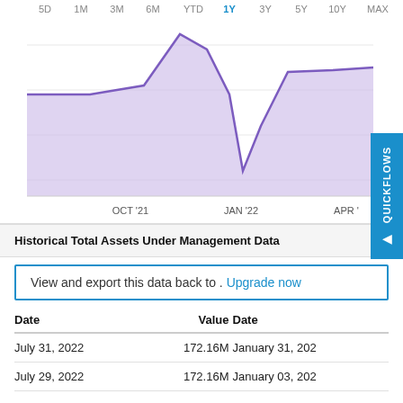[Figure (area-chart): Area chart showing AUM over time with x-axis labels OCT '21, JAN '22, APR '22 and time period buttons 5D 1M 3M 6M YTD 1Y 3Y 5Y 10Y MAX at top. Purple filled area with line showing a peak around Dec 2021, sharp dip around Jan 2022, then recovery.]
Historical Total Assets Under Management Data
View and export this data back to . Upgrade now
| Date | Value | Date |
| --- | --- | --- |
| July 31, 2022 | 172.16M | January 31, 202... |
| July 29, 2022 | 172.16M | January 03, 202... |